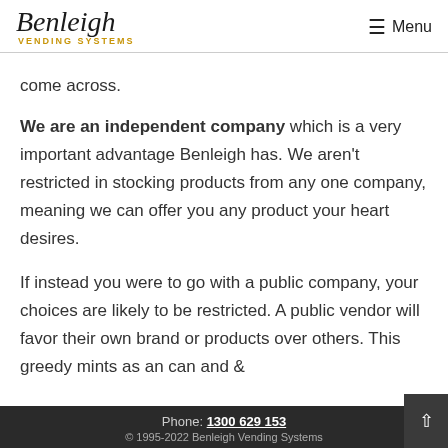Benleigh Vending Systems — Menu
come across.
We are an independent company which is a very important advantage Benleigh has. We aren't restricted in stocking products from any one company, meaning we can offer you any product your heart desires.
If instead you were to go with a public company, your choices are likely to be restricted. A public vendor will favor their own brand or products over others. This greedy mints as an can and &
Phone: 1300 629 153 | © 1995-2022 Benleigh Vending Systems